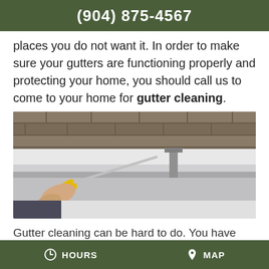(904) 875-4567
places you do not want it. In order to make sure your gutters are functioning properly and protecting your home, you should call us to come to your home for gutter cleaning.
[Figure (photo): Person using a yellow-handled screwdriver to install or adjust a metal gutter bracket on a house roofline, with brick wall visible in background.]
Gutter cleaning can be hard to do. You have
HOURS   MAP